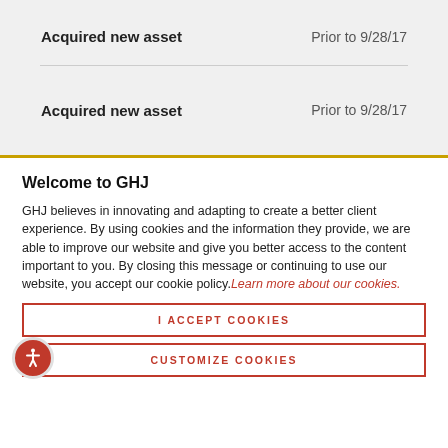|  |  |
| --- | --- |
| Acquired new asset | Prior to 9/28/17 |
| Acquired new asset | Prior to 9/28/17 |
Welcome to GHJ
GHJ believes in innovating and adapting to create a better client experience. By using cookies and the information they provide, we are able to improve our website and give you better access to the content important to you. By closing this message or continuing to use our website, you accept our cookie policy. Learn more about our cookies.
I ACCEPT COOKIES
CUSTOMIZE COOKIES